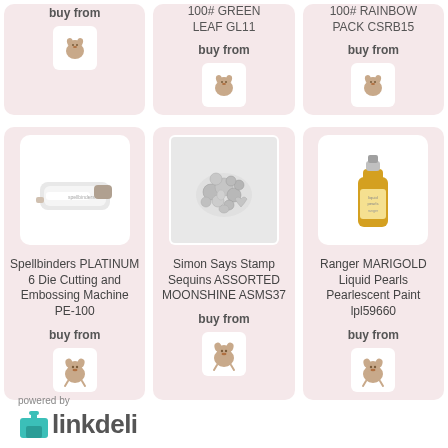buy from
100# GREEN LEAF GL11
buy from
100# RAINBOW PACK CSRB15
buy from
[Figure (photo): Spellbinders Platinum 6 die cutting machine, white with brown trim]
Spellbinders PLATINUM 6 Die Cutting and Embossing Machine PE-100
buy from
[Figure (photo): Simon Says Stamp assorted moonshine sequins, silver metallic scattered pile]
Simon Says Stamp Sequins ASSORTED MOONSHINE ASMS37
buy from
[Figure (photo): Ranger Marigold Liquid Pearls pearlescent paint bottle, gold colored]
Ranger MARIGOLD Liquid Pearls Pearlescent Paint lpl59660
buy from
powered by
[Figure (logo): linkdeli logo with teal house/gift box icon and bold text linkdeli]